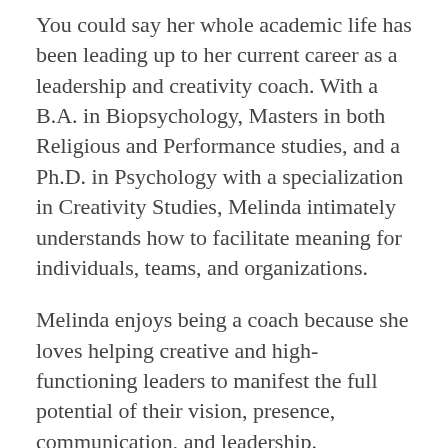You could say her whole academic life has been leading up to her current career as a leadership and creativity coach. With a B.A. in Biopsychology, Masters in both Religious and Performance studies, and a Ph.D. in Psychology with a specialization in Creativity Studies, Melinda intimately understands how to facilitate meaning for individuals, teams, and organizations.
Melinda enjoys being a coach because she loves helping creative and high-functioning leaders to manifest the full potential of their vision, presence, communication, and leadership. Possessing a unique understanding of the creative process and how